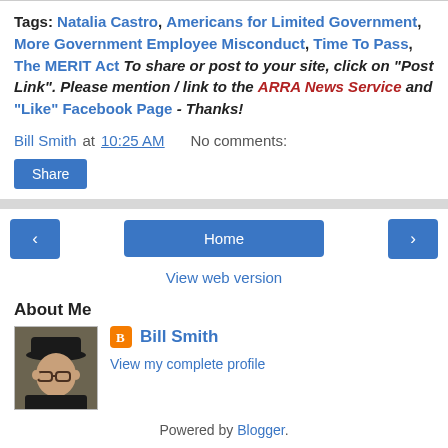Tags: Natalia Castro, Americans for Limited Government, More Government Employee Misconduct, Time To Pass, The MERIT Act To share or post to your site, click on "Post Link". Please mention / link to the ARRA News Service and "Like" Facebook Page - Thanks!
Bill Smith at 10:25 AM   No comments:
Share
‹   Home   ›
View web version
About Me
[Figure (photo): Profile photo of Bill Smith, a man wearing a black cap and glasses]
Bill Smith
View my complete profile
Powered by Blogger.